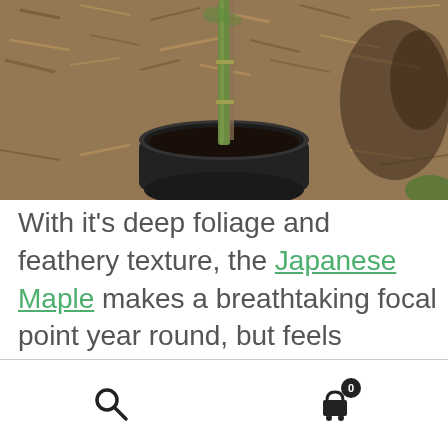[Figure (photo): A young Japanese Maple tree sapling in a black plastic nursery pot, set on a bed of wood chip mulch. The pot contains dark soil and the slender trunk is staked. Another dark-leaved plant is visible in the background on the right.]
With it's deep foliage and feathery texture, the Japanese Maple makes a breathtaking focal point year round, but feels especially at home in the fall landscape.
[Figure (infographic): Website bottom navigation bar with a search icon (magnifying glass) on the left and a shopping cart icon with a badge showing '0' on the right.]